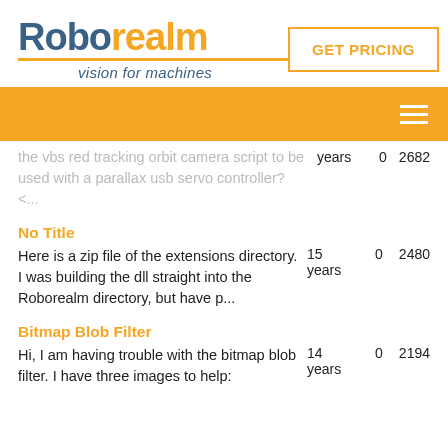[Figure (logo): RoboRealm logo with tagline 'vision for machines']
GET PRICING
[Figure (other): Orange navigation bar with hamburger menu icon]
the vbs red tracking orbit camera script to be used with a parallax usb servo controller? <...
No Title
Here is a zip file of the extensions directory. I was building the dll straight into the Roborealm directory, but have p...
Bitmap Blob Filter
Hi, I am having trouble with the bitmap blob filter.  I have three images to help: